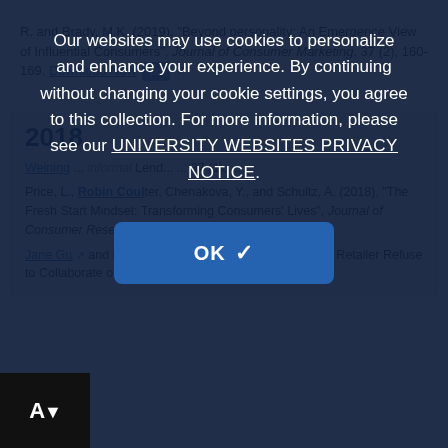R. and Brady, M.K. (2019), "Beyond personality: An Emergence View of Influential Consumers", Journal of Consumer Marketing, 37 (2), 160-169. Download Now .pdf [external link]
2018
Weining... informal Lending... 37 (1)...
Price, L., Robin Coulter, Chenakova, Y., and Schultz, A. (2018), "The Fresh Start Mindset: Transforming Consumers' Lives", Journal of Consumer Research. Download...
Jane Gu [external link] and Liu, P. (forthcoming), "Why Would a Big Retailer Refuse to Collaborate on Manufacturer
Our websites may use cookies to personalize and enhance your experience. By continuing without changing your cookie settings, you agree to this collection. For more information, please see our UNIVERSITY WEBSITES PRIVACY NOTICE.